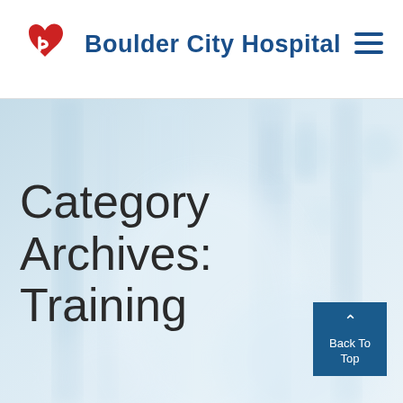[Figure (logo): Boulder City Hospital logo with red heart/B icon and blue text]
Boulder City Hospital
[Figure (photo): Blurred hospital hallway background with light blue tones, circular forms in foreground]
Category Archives: Training
[Figure (other): Back To Top button - blue square with upward chevron arrow and text 'Back To Top']